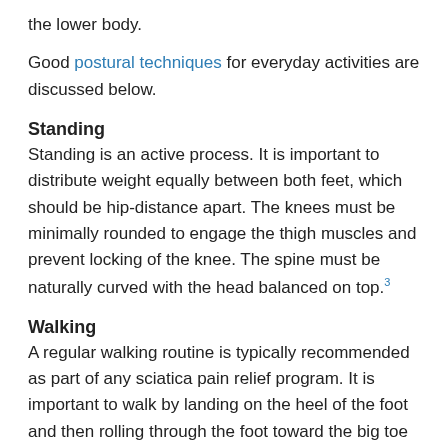the lower body.
Good postural techniques for everyday activities are discussed below.
Standing
Standing is an active process. It is important to distribute weight equally between both feet, which should be hip-distance apart. The knees must be minimally rounded to engage the thigh muscles and prevent locking of the knee. The spine must be naturally curved with the head balanced on top.3
Walking
A regular walking routine is typically recommended as part of any sciatica pain relief program. It is important to walk by landing on the heel of the foot and then rolling through the foot toward the big toe to push off. This process allows the weight to be distributed evenly through the foot while